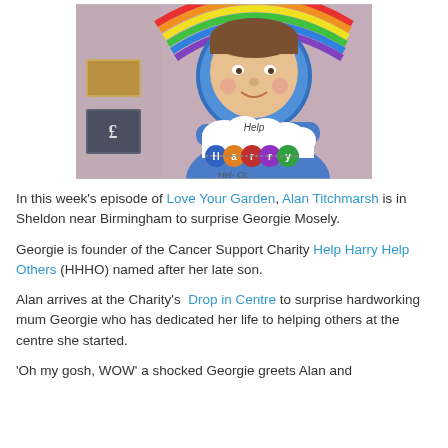[Figure (photo): Photo of a young boy with a charity sign reading 'Help Harry Help Others' with colorful circles on a cloud shape, with a rainbow behind him.]
In this week's episode of Love Your Garden, Alan Titchmarsh is in Sheldon near Birmingham to surprise Georgie Mosely.
Georgie is founder of the Cancer Support Charity Help Harry Help Others (HHHO) named after her late son.
Alan arrives at the Charity's Drop in Centre to surprise hardworking mum Georgie who has dedicated her life to helping others at the centre she started.
'Oh my gosh, WOW' a shocked Georgie greets Alan and